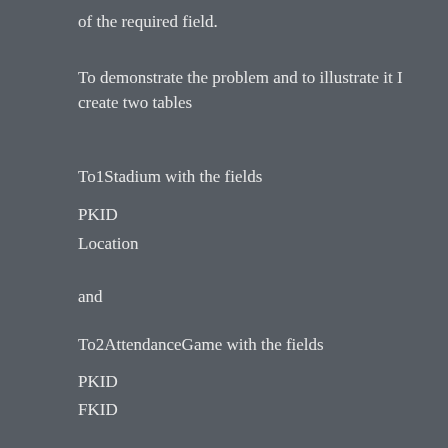of the required field.
To demonstrate the problem and to illustrate it I create two tables
To1Stadium with the fields
PKID
Location
and
To2AttendanceGame with the fields
PKID
FKID
Attendance
GameDate